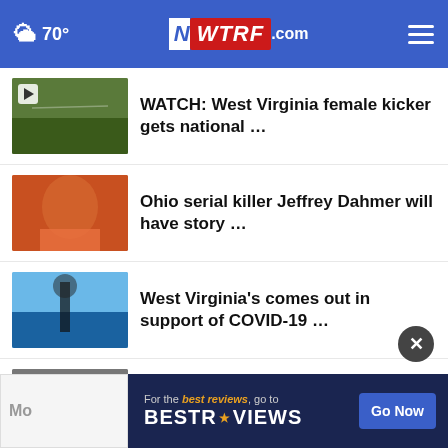70° WTRF.com
WATCH: West Virginia female kicker gets national …
Ohio serial killer Jeffrey Dahmer will have story …
West Virginia's comes out in support of COVID-19 …
Ohio could be new site for Honda plant
Biden to deliver primetime address warning Americans …
For the best reviews, go to BESTREVIEWS Go Now